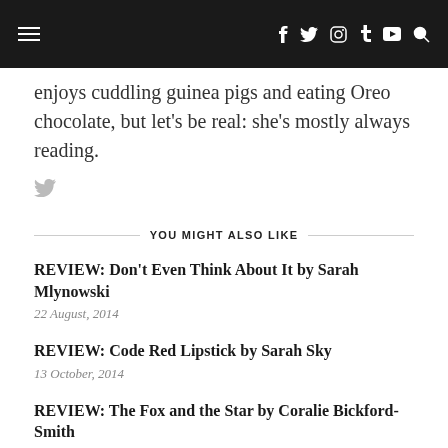Navigation bar with hamburger menu and social icons
enjoys cuddling guinea pigs and eating Oreo chocolate, but let's be real: she's mostly always reading.
YOU MIGHT ALSO LIKE
REVIEW: Don't Even Think About It by Sarah Mlynowski
22 August, 2014
REVIEW: Code Red Lipstick by Sarah Sky
13 October, 2014
REVIEW: The Fox and the Star by Coralie Bickford-Smith
5 January, 2016